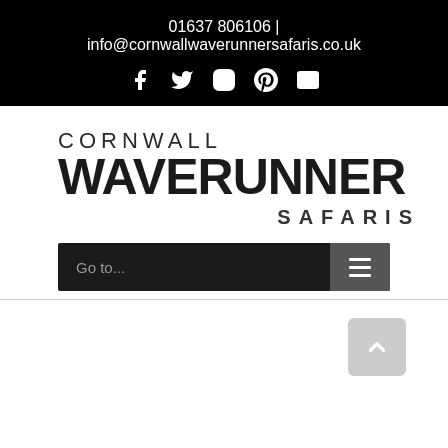01637 806106 | info@cornwallwaverunnersafaris.co.uk
[Figure (infographic): Social media icons: Facebook, Twitter, Instagram, Pinterest, Email]
[Figure (logo): Cornwall Waverunner Safaris logo — CORNWALL in light weight, WAVERUNNER in heavy black, SAFARIS in spaced caps]
Go to...
[Figure (infographic): Hamburger menu icon (three horizontal lines) in dark button]